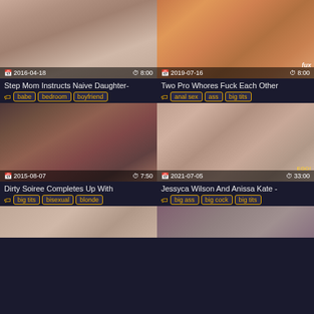[Figure (screenshot): Video thumbnail - Step Mom Instructs Naive Daughter, date 2016-04-18, duration 8:00]
Step Mom Instructs Naive Daughter-
babe  bedroom  boyfriend
[Figure (screenshot): Video thumbnail - Two Pro Whores Fuck Each Other, date 2019-07-16, duration 8:00]
Two Pro Whores Fuck Each Other
anal sex  ass  big tits
[Figure (screenshot): Video thumbnail - Dirty Soiree Completes Up With, date 2015-08-07, duration 7:50]
Dirty Soiree Completes Up With
big tits  bisexual  blonde
[Figure (screenshot): Video thumbnail - Jessyca Wilson And Anissa Kate, date 2021-07-05, duration 33:00]
Jessyca Wilson And Anissa Kate -
big ass  big cock  big tits